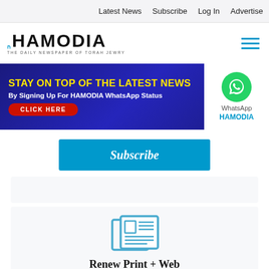Latest News   Subscribe   Log In   Advertise
[Figure (logo): Hamodia logo — THE DAILY NEWSPAPER OF TORAH JEWRY]
[Figure (infographic): Banner ad: STAY ON TOP OF THE LATEST NEWS By Signing Up For HAMODIA WhatsApp Status — CLICK HERE button — WhatsApp HAMODIA logo on the right]
Subscribe
[Figure (illustration): Newspaper icon in blue outline style]
Renew Print + Web